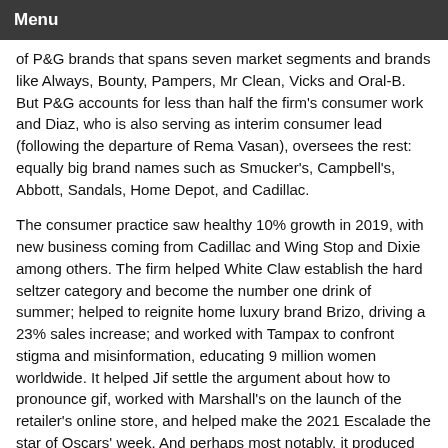Menu
of P&G brands that spans seven market segments and brands like Always, Bounty, Pampers, Mr Clean, Vicks and Oral-B. But P&G accounts for less than half the firm's consumer work and Diaz, who is also serving as interim consumer lead (following the departure of Rema Vasan), oversees the rest: equally big brand names such as Smucker's, Campbell's, Abbott, Sandals, Home Depot, and Cadillac.
The consumer practice saw healthy 10% growth in 2019, with new business coming from Cadillac and Wing Stop and Dixie among others. The firm helped White Claw establish the hard seltzer category and become the number one drink of summer; helped to reignite home luxury brand Brizo, driving a 23% sales increase; and worked with Tampax to confront stigma and misinformation, educating 9 million women worldwide. It helped Jif settle the argument about how to pronounce gif, worked with Marshall's on the launch of the retailer's online store, and helped make the 2021 Escalade the star of Oscars' week. And perhaps most notably, it produced an online film featuring John Legend on…